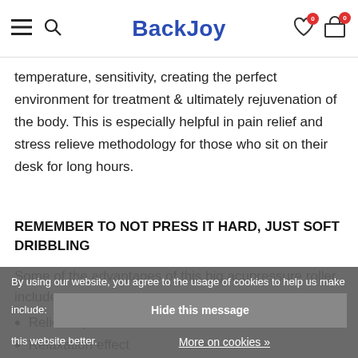BackJoy
temperature, sensitivity, creating the perfect environment for treatment & ultimately rejuvenation of the body. This is especially helpful in pain relief and stress relieve methodology for those who sit on their desk for long hours.
REMEMBER TO NOT PRESS IT HARD, JUST SOFT DRIBBLING
Some of the advantages of this big acupressure roller include:
Relief of pain
Relaxation effect
By using our website, you agree to the usage of cookies to help us make this website better. Hide this message More on cookies »